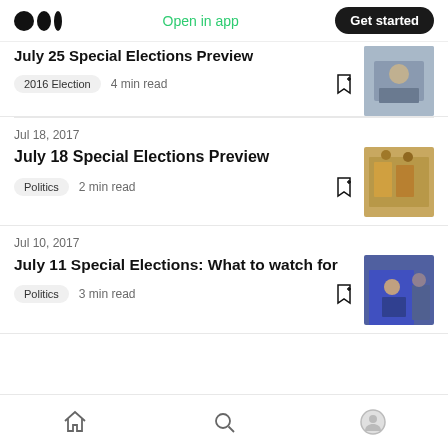Medium logo | Open in app | Get started
July 25 Special Elections Preview
2016 Election  4 min read
Jul 18, 2017
July 18 Special Elections Preview
Politics  2 min read
Jul 10, 2017
July 11 Special Elections: What to watch for
Politics  3 min read
Home | Search | Profile